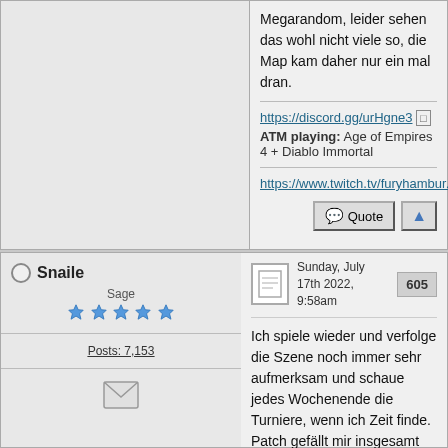Megarandom, leider sehen das wohl nicht viele so, die Map kam daher nur ein mal dran.
https://discord.gg/urHgne3
ATM playing: Age of Empires 4 + Diablo Immortal
https://www.twitch.tv/furyhambur...
Snaile
Sage
Posts: 7,153
Sunday, July 17th 2022, 9:58am
605
Ich spiele wieder und verfolge die Szene noch immer sehr aufmerksam und schaue jedes Wochenende die Turniere, wenn ich Zeit finde.
Patch gefällt mir insgesamt auch sehr gut.
Die Ratings haben vermutlich deshalb keine Aussagekraft, weil sie in Season 1 zum Ende hin...